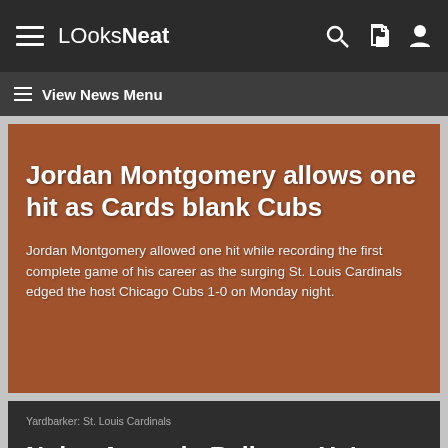LOoksNeat
View News Menu
Jordan Montgomery allows one hit as Cards blank Cubs
Jordan Montgomery allowed one hit while recording the first complete game of his career as the surging St. Louis Cardinals edged the host Chicago Cubs 1-0 on Monday night.
Yardbarker: St. Louis Cardinals
Nolan Arenado Believes He's Dealing With The Tor...